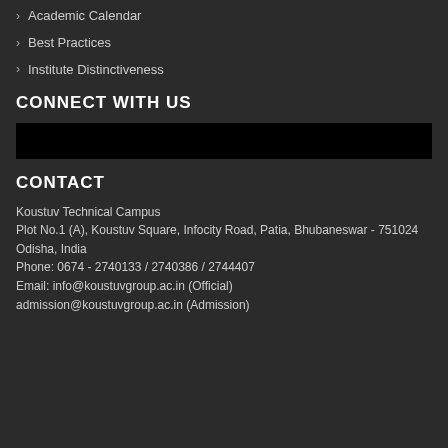Academic Calendar
Best Practices
Institute Distinctiveness
CONNECT WITH US
[Figure (other): Black bar / social media widget area]
CONTACT
Koustuv Technical Campus
Plot No.1 (A), Koustuv Square, Infocity Road, Patia, Bhubaneswar - 751024
Odisha, India
Phone: 0674 - 2740133 / 2740386 / 2744407
Email: info@koustuvgroup.ac.in (Official)
admission@koustuvgroup.ac.in (Admission)